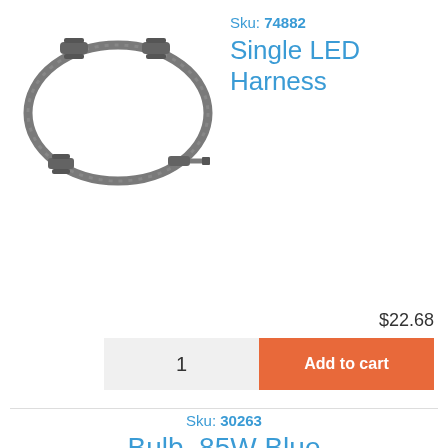[Figure (photo): Gray single LED wiring harness cable coiled in an oval shape with connectors on each end]
Sku: 74882
Single LED Harness
$22.68
1
Add to cart
Sku: 30263
Bulb, 85W Blue Flood, Hot Spring